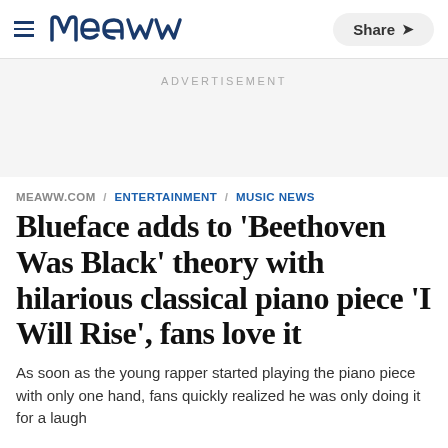meaww | Share
ADVERTISEMENT
MEAWW.COM / ENTERTAINMENT / MUSIC NEWS
Blueface adds to 'Beethoven Was Black' theory with hilarious classical piano piece 'I Will Rise', fans love it
As soon as the young rapper started playing the piano piece with only one hand, fans quickly realized he was only doing it for a laugh